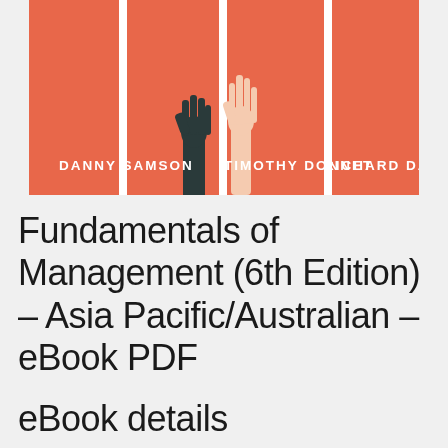[Figure (illustration): Book cover for Fundamentals of Management 6th Edition. Orange/coral background with white lane lines (like a running track). Two hands reaching up from the bottom — one dark-gloved and one bare/light. Authors listed: DANNY SAMSON, TIMOTHY DONNET, RICHARD DAFT.]
Fundamentals of Management (6th Edition) – Asia Pacific/Australian – eBook PDF
eBook details